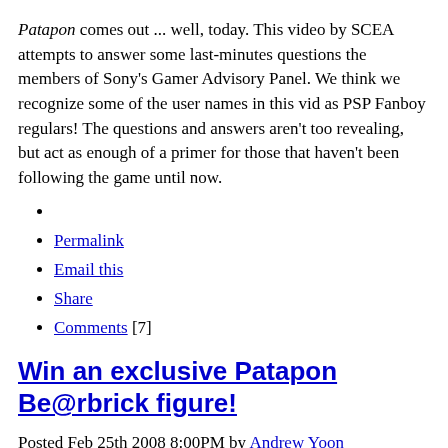Patapon comes out ... well, today. This video by SCEA attempts to answer some last-minutes questions the members of Sony's Gamer Advisory Panel. We think we recognize some of the user names in this vid as PSP Fanboy regulars! The questions and answers aren't too revealing, but act as enough of a primer for those that haven't been following the game until now.
Permalink
Email this
Share
Comments [7]
Win an exclusive Patapon Be@rbrick figure!
Posted Feb 25th 2008 8:00PM by Andrew Yoon
Filed under: Patapon